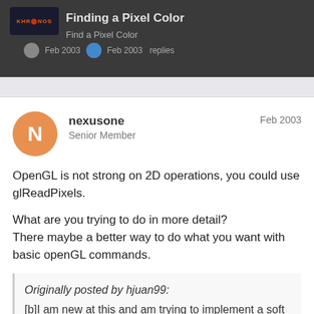Finding a Pixel Color
nexusone
Senior Member
Feb 2003
OpenGL is not strong on 2D operations, you could use glReadPixels.
What are you trying to do in more detail?
There maybe a better way to do what you want with basic openGL commands.
Originally posted by hjuan99:
[b]I am new at this and am trying to implement a soft fill algorithm but don't know how to find the color of a pixel with openGL. Can anyone point me to a method that will return the color of an x,y,z coordinate?